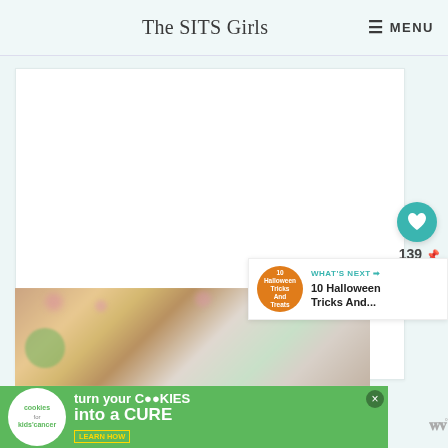The SITS Girls   ≡ MENU
[Figure (screenshot): White content area on light teal background]
[Figure (illustration): Teal heart button with count 139 and share button]
[Figure (infographic): What's Next banner showing 10 Halloween Tricks And...]
[Figure (photo): Blurred party/celebration photo with pink decorations and bokeh lights]
[Figure (infographic): Cookies for Kids Cancer advertisement: turn your COOKIES into a CURE LEARN HOW]